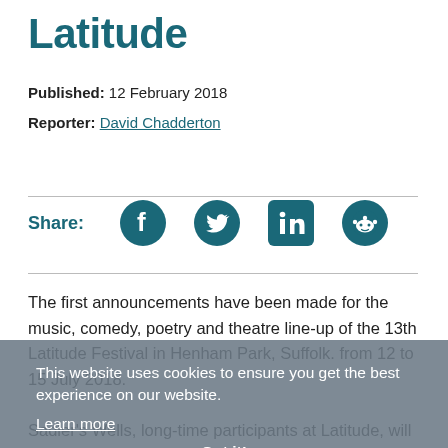Latitude
Published: 12 February 2018
Reporter: David Chadderton
Share:
[Figure (infographic): Social share icons for Facebook, Twitter, LinkedIn, and Reddit]
The first announcements have been made for the music, comedy, poetry and theatre line-up of the 13th Latitude Festival in Henham Park, Suffolk. from 12 to 15 July 2018.
Sadler's Wells, long-time participants at Latitude, will return to the Waterfront Stage with a programme of dance acts yet to be announced, and Theatre ad Infinitum will be
This website uses cookies to ensure you get the best experience on our website.
Learn more
Got it!